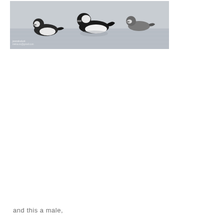[Figure (photo): Photograph of three bufflehead ducks swimming on calm grey water. The birds are black and white with rounded heads. A small watermark/credit text appears in the lower-left corner of the photo.]
and this a male,